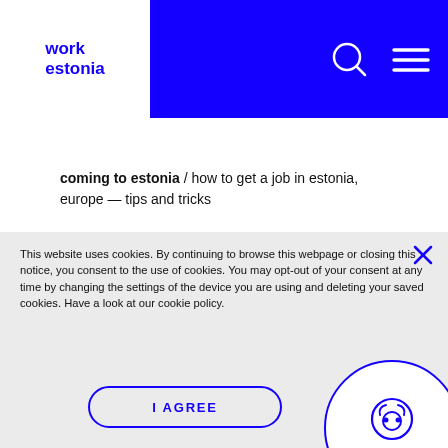work estonia
coming to estonia / how to get a job in estonia, europe — tips and tricks
This website uses cookies. By continuing to browse this webpage or closing this notice, you consent to the use of cookies. You may opt-out of your consent at any time by changing the settings of the device you are using and deleting your saved cookies. Have a look at our cookie policy.
I AGREE
[Figure (other): Chatbot button circle with headset icon and label 'Chatbot']